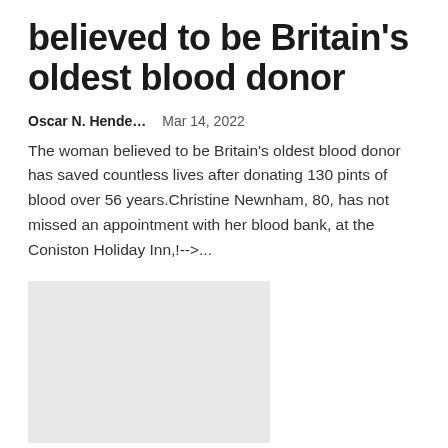believed to be Britain's oldest blood donor
Oscar N. Hende…   Mar 14, 2022
The woman believed to be Britain's oldest blood donor has saved countless lives after donating 130 pints of blood over 56 years.Christine Newnham, 80, has not missed an appointment with her blood bank, at the Coniston Holiday Inn,!-->...
[Figure (photo): Grey placeholder image rectangle]
80-year-old woman becomes UK's oldest blood donor after